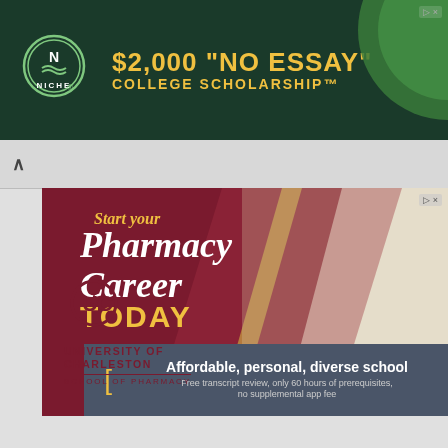[Figure (advertisement): Niche.com top banner ad: dark green background with Niche logo (N with waves in circle), text '$2,000 "NO ESSAY" COLLEGE SCHOLARSHIP™' in gold/yellow, and a green circle element on right]
[Figure (advertisement): University of Charleston School of Pharmacy advertisement with maroon triangle background, smiling man in white coat with stethoscope and glasses, text 'Start your Pharmacy Career TODAY', UC logo with star, University of Charleston School of Pharmacy text, and bottom bar reading 'Affordable, personal, diverse school / Free transcript review, only 60 hours of prerequisites, no supplemental app fee']